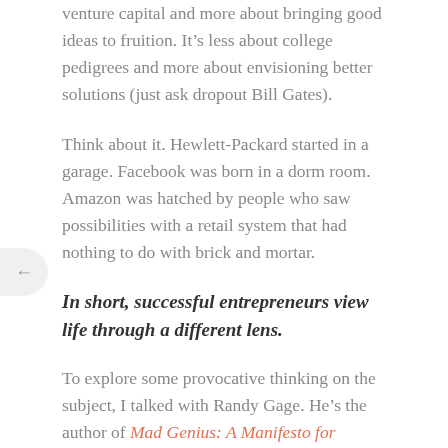venture capital and more about bringing good ideas to fruition. It’s less about college pedigrees and more about envisioning better solutions (just ask dropout Bill Gates).
Think about it. Hewlett-Packard started in a garage. Facebook was born in a dorm room. Amazon was hatched by people who saw possibilities with a retail system that had nothing to do with brick and mortar.
In short, successful entrepreneurs view life through a different lens.
To explore some provocative thinking on the subject, I talked with Randy Gage. He’s the author of Mad Genius: A Manifesto for Entrepreneurs.